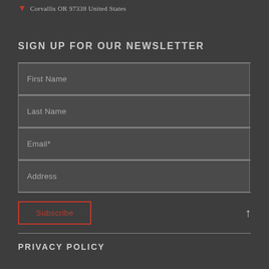Corvallis OR 97338 United States
SIGN UP FOR OUR NEWSLETTER
First Name
Last Name
Email*
Address
Subscribe
PRIVACY POLICY